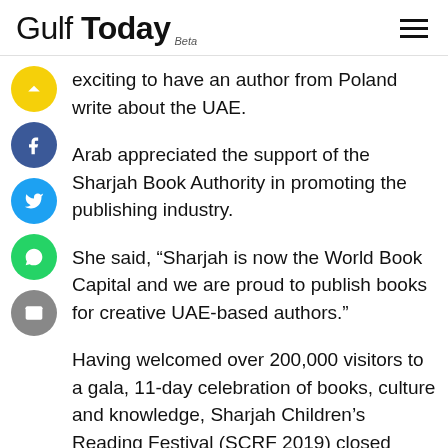Gulf Today Beta
exciting to have an author from Poland write about the UAE.
Arab appreciated the support of the Sharjah Book Authority in promoting the publishing industry.
She said, “Sharjah is now the World Book Capital and we are proud to publish books for creative UAE-based authors.”
Having welcomed over 200,000 visitors to a gala, 11-day celebration of books, culture and knowledge, Sharjah Children’s Reading Festival (SCRF 2019) closed curtains on its 11th edition on Saturday.